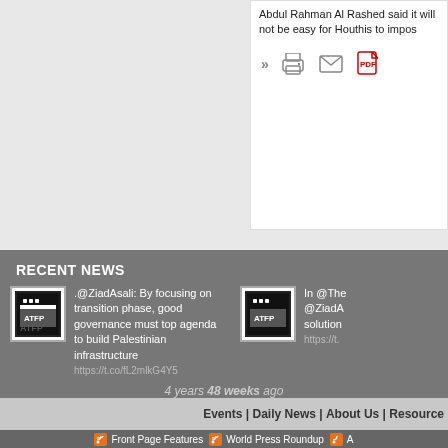Abdul Rahman Al Rashed said it will not be easy for Houthis to impose...
RECENT NEWS
.@ZiadAsali: By focusing on transition phase, good governance must top agenda to build Palestinian infrastructure https://t.co/fL2mlkG4Y5
In @The... @ZiadA... solution... https://t.
4 years 48 weeks ago
Events | Daily News | About Us | Resource
Front Page Features | World Press Roundup | A...